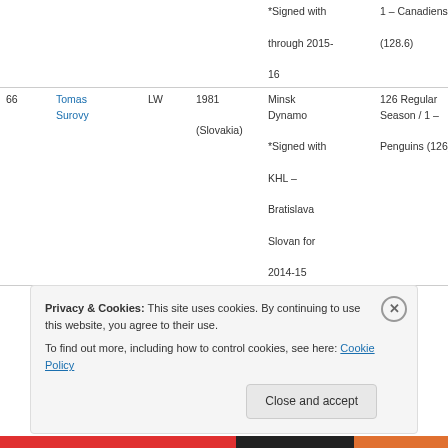| # | Name | Pos | Born | Team | NHL Games |
| --- | --- | --- | --- | --- | --- |
|  |  |  |  | *Signed with through 2015-16 | 1 – Canadiens (128.6) |
| 66 | Tomas Surovy | LW | 1981 (Slovakia) | Minsk Dynamo *Signed with KHL – Bratislava Slovan for 2014-15 | 126 Regular Season / 1 – Penguins (126) |
Privacy & Cookies: This site uses cookies. By continuing to use this website, you agree to their use.
To find out more, including how to control cookies, see here: Cookie Policy